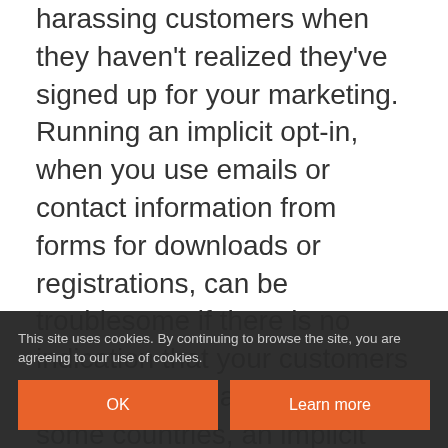harassing customers when they haven't realized they've signed up for your marketing. Running an implicit opt-in, when you use emails or contact information from forms for downloads or registrations, can be troublesome if there is no indication that your customers are joining a mailing list. In some countries, an implicit opt-in policy in your marketing is illegal.

Subscribers you force into mailing lists may also more likely to mark your emails as junk and send them to their folder. To avoid that, it's best to use a combination of
This site uses cookies. By continuing to browse the site, you are agreeing to our use of cookies.